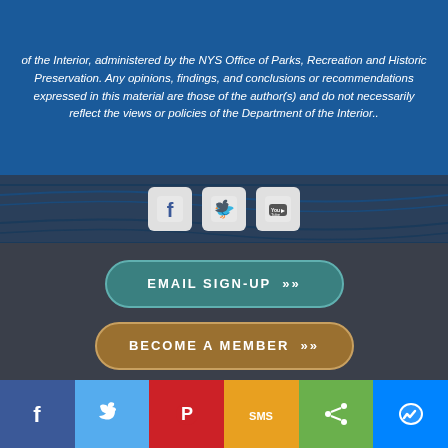of the Interior, administered by the NYS Office of Parks, Recreation and Historic Preservation. Any opinions, findings, and conclusions or recommendations expressed in this material are those of the author(s) and do not necessarily reflect the views or policies of the Department of the Interior..
[Figure (infographic): Social media icons: Facebook, Twitter, YouTube on wave-patterned dark blue background]
[Figure (infographic): Three call-to-action buttons: EMAIL SIGN-UP, BECOME A MEMBER, DONATE NOW with chevron arrows]
[Figure (infographic): Social sharing bar with Facebook, Twitter, Pinterest, SMS, Share, and Messenger buttons]